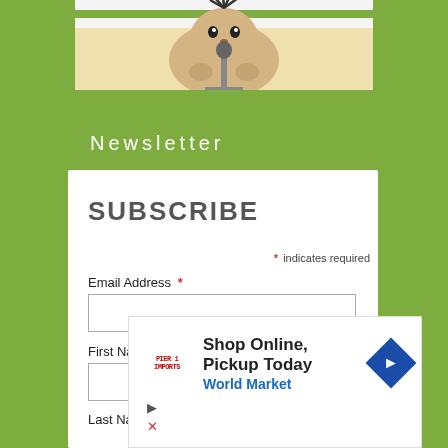[Figure (illustration): Cartoon character (hedgehog or porcupine) peeking over a striped banner with green and white horizontal stripes, holding a microphone stand]
Newsletter
SUBSCRIBE
* indicates required
Email Address *
First Name
Last Name
[Figure (infographic): Advertisement overlay: Shop Online, Pickup Today - World Market, with a blue diamond arrow icon and a logo reading PIER 1 IMPORTS or similar retailer. Play and close icons visible.]